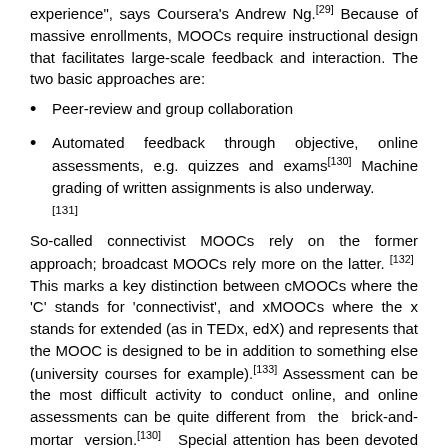experience", says Coursera's Andrew Ng.[29] Because of massive enrollments, MOOCs require instructional design that facilitates large-scale feedback and interaction. The two basic approaches are:
Peer-review and group collaboration
Automated feedback through objective, online assessments, e.g. quizzes and exams[130] Machine grading of written assignments is also underway.[131]
So-called connectivist MOOCs rely on the former approach; broadcast MOOCs rely more on the latter.[132] This marks a key distinction between cMOOCs where the 'C' stands for 'connectivist', and xMOOCs where the x stands for extended (as in TEDx, edX) and represents that the MOOC is designed to be in addition to something else (university courses for example).[133] Assessment can be the most difficult activity to conduct online, and online assessments can be quite different from the brick-and-mortar version.[130] Special attention has been devoted to proctoring and cheating.[134]
Peer review is often based upon sample answers or